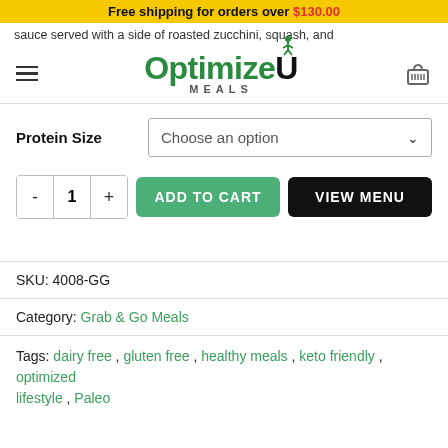Free shipping for orders over $130.00
sauce served with a side of roasted zucchini, squash, and
[Figure (logo): OptimizeU Meals logo with green text and figure icon]
Protein Size — Choose an option dropdown
- 1 + ADD TO CART  VIEW MENU
SKU: 4008-GG
Category: Grab & Go Meals
Tags: dairy free, gluten free, healthy meals, keto friendly, optimized lifestyle, Paleo